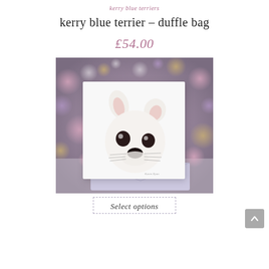kerry blue terriers
kerry blue terrier – duffle bag
£54.00
[Figure (photo): A greeting card featuring a pencil/watercolour illustration of a white Chihuahua dog face with large dark eyes and pink ears, propped up against a light purple envelope, set against a blurred bokeh background in purples, pinks, and golds.]
Select options